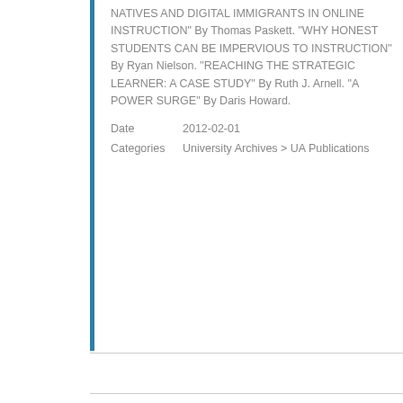NATIVES AND DIGITAL IMMIGRANTS IN ONLINE INSTRUCTION" By Thomas Paskett. "WHY HONEST STUDENTS CAN BE IMPERVIOUS TO INSTRUCTION" By Ryan Nielson. "REACHING THE STRATEGIC LEARNER: A CASE STUDY" By Ruth J. Arnell. "A POWER SURGE" By Daris Howard.
| Date | 2012-02-01 |
| Categories | University Archives > UA Publications |